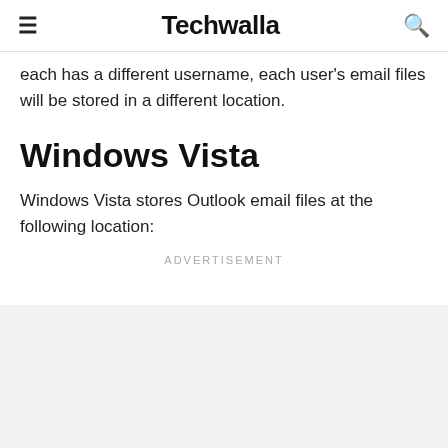≡  Techwalla  🔍
each has a different username, each user's email files will be stored in a different location.
Windows Vista
Windows Vista stores Outlook email files at the following location:
Advertisement